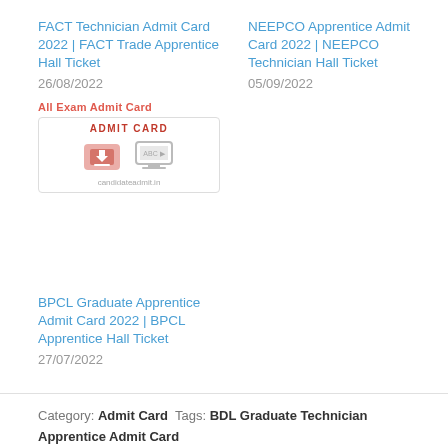FACT Technician Admit Card 2022 | FACT Trade Apprentice Hall Ticket
26/08/2022
NEEPCO Apprentice Admit Card 2022 | NEEPCO Technician Hall Ticket
05/09/2022
[Figure (screenshot): All Exam Admit Card banner image showing a card with download icon and monitor icon, labeled ADMIT CARD, with website URL candidateadmit.in]
BPCL Graduate Apprentice Admit Card 2022 | BPCL Apprentice Hall Ticket
27/07/2022
Category: Admit Card  Tags: BDL Graduate Technician Apprentice Admit Card